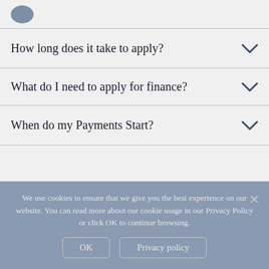[partial logo/icon visible]
How long does it take to apply?
What do I need to apply for finance?
When do my Payments Start?
We use cookies to ensure that we give you the best experience on our website. You can read more about our cookie usage in our Privacy Policy or click OK to continue browsing.